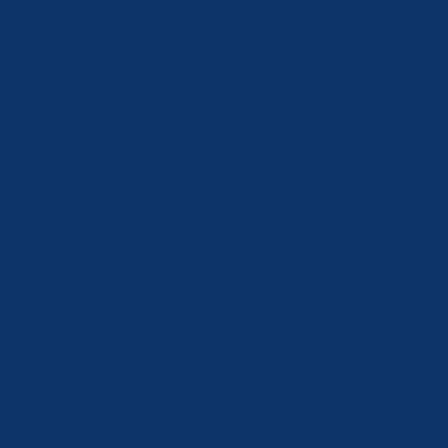al for decades. I could see the same p